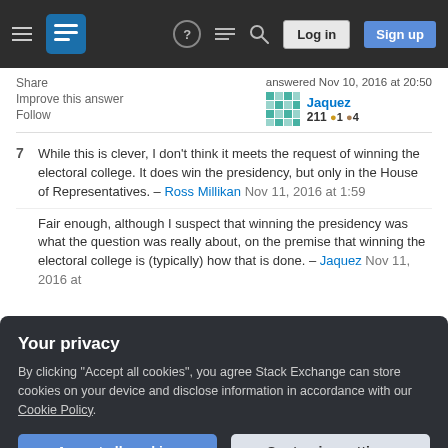Stack Exchange navigation bar with hamburger menu, logo, help, chat, search icons, Log in and Sign up buttons
Share
Improve this answer
Follow
answered Nov 10, 2016 at 20:50
Jaquez
211 ●1 ●4
7  While this is clever, I don't think it meets the request of winning the electoral college. It does win the presidency, but only in the House of Representatives. – Ross Millikan Nov 11, 2016 at 1:59
Fair enough, although I suspect that winning the presidency was what the question was really about, on the premise that winning the electoral college is (typically) how that is done. – Jaquez Nov 11, 2016 at
Your privacy
By clicking "Accept all cookies", you agree Stack Exchange can store cookies on your device and disclose information in accordance with our Cookie Policy.
Accept all cookies   Customize settings
answer. It is really just the logical extreme extrapolated